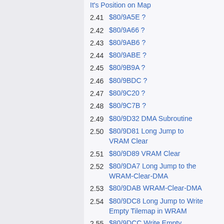It's Position on Map
2.41  $80/9A5E ?
2.42  $80/9A66 ?
2.43  $80/9AB6 ?
2.44  $80/9ABE ?
2.45  $80/9B9A ?
2.46  $80/9BDC ?
2.47  $80/9C20 ?
2.48  $80/9C7B ?
2.49  $80/9D32 DMA Subroutine
2.50  $80/9D81 Long Jump to VRAM Clear
2.51  $80/9D89 VRAM Clear
2.52  $80/9DA7 Long Jump to the WRAM-Clear-DMA
2.53  $80/9DAB WRAM-Clear-DMA
2.54  $80/9DC8 Long Jump to Write Empty Tilemap in WRAM
2.55  $80/9DCC Write Empty Tilemap in WRAM
2.56  $80/9E7B Long Jump to